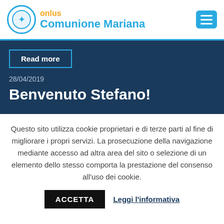onlus Comunione Mariana
[Figure (logo): Comunione Mariana onlus logo with circular icon and text]
Read more
28/04/2019
Benvenuto Stefano!
Questo sito utilizza cookie proprietari e di terze parti al fine di migliorare i propri servizi. La prosecuzione della navigazione mediante accesso ad altra area del sito o selezione di un elemento dello stesso comporta la prestazione del consenso all'uso dei cookie.
ACCETTA
Leggi l'informativa